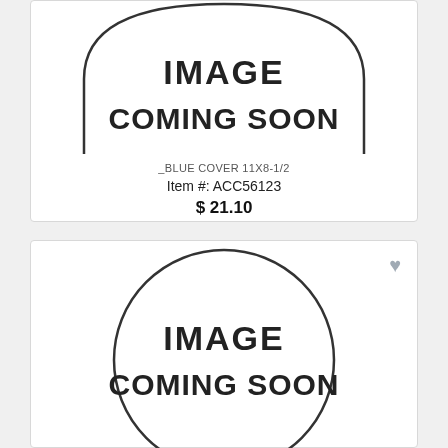[Figure (illustration): Image Coming Soon placeholder graphic - arched/pill shape outline with text IMAGE COMING SOON inside]
_BLUE COVER 11X8-1/2
Item #: ACC56123
$ 21.10
[Figure (illustration): Image Coming Soon placeholder graphic - circular outline with text IMAGE COMING SOON inside, with heart icon top right]